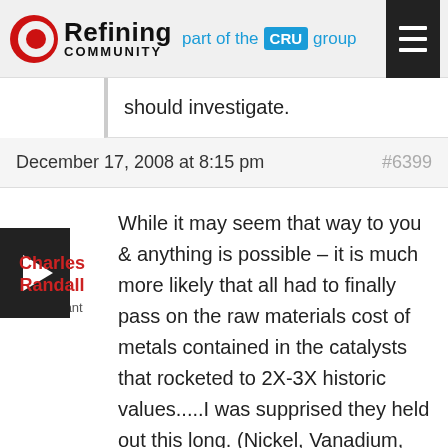Refining Community – part of the CRU group
should investigate.
December 17, 2008 at 8:15 pm  #6399
Charles Randall
Participant
While it may seem that way to you & anything is possible – it is much more likely that all had to finally pass on the raw materials cost of metals contained in the catalysts that rocketed to 2X-3X historic values.....I was supprised they held out this long. (Nickel, Vanadium, Platinum, Moly, Cobalt & ect)